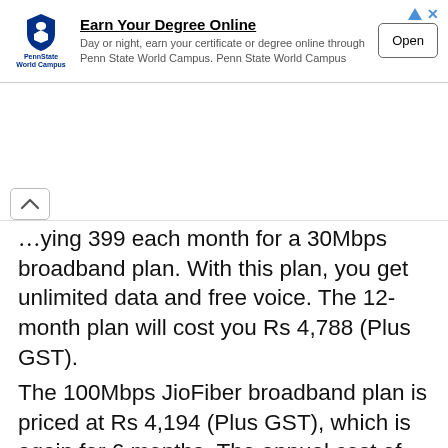[Figure (infographic): Penn State World Campus advertisement banner with shield logo, title 'Earn Your Degree Online', body text, and an 'Open' button]
...ying 399 each month for a 30Mbps broadband plan. With this plan, you get unlimited data and free voice. The 12-month plan will cost you Rs 4,788 (Plus GST).
The 100Mbps JioFiber broadband plan is priced at Rs 4,194 (Plus GST), which is again for 6 months. The annual cost of this plan is Rs 8,388 (Plus GST), which means the monthly cost of this broadband plan is Rs 699. You get unlimited data here too.